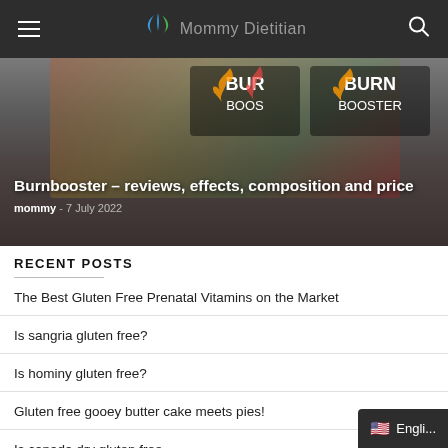Mommy Dietitian
[Figure (photo): Hero image showing Burnbooster supplement products with flames and colorful fruits/spices background, overlaid with article title and author info]
Burnbooster – reviews, effects, composition and price
mommy - 7 July 2022
RECENT POSTS
The Best Gluten Free Prenatal Vitamins on the Market
Is sangria gluten free?
Is hominy gluten free?
Gluten free gooey butter cake meets pies!
Is canada dry gluten free